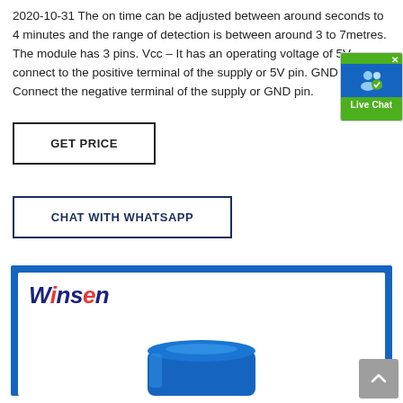2020-10-31 The on time can be adjusted between around seconds to 4 minutes and the range of detection is between around 3 to 7metres. The module has 3 pins. Vcc – It has an operating voltage of 5V, connect to the positive terminal of the supply or 5V pin. GND – Connect the negative terminal of the supply or GND pin.
[Figure (screenshot): Live Chat badge button with blue user icon and green background]
[Figure (other): GET PRICE button with black border]
[Figure (other): CHAT WITH WHATSAPP button with dark navy border]
[Figure (logo): Winsen logo on white background inside blue-bordered box, with partial product image (blue cylinder) at bottom]